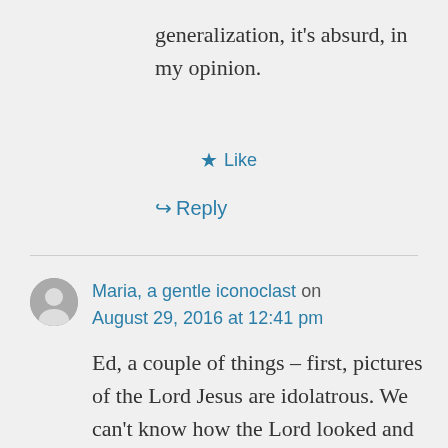generalization, it's absurd, in my opinion.
★ Like
↪ Reply
Maria, a gentle iconoclast on August 29, 2016 at 12:41 pm
Ed, a couple of things – first, pictures of the Lord Jesus are idolatrous. We can't know how the Lord looked and we are forbidden to make images of God. Why not send a Bible verse